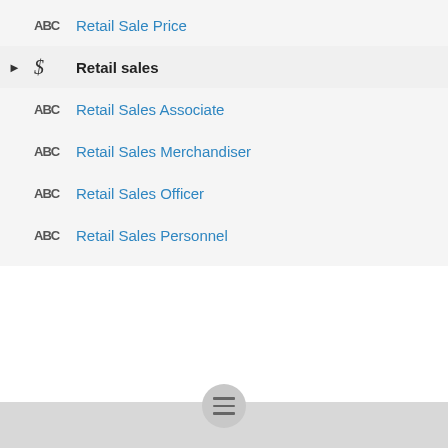Retail Sale Price
Retail sales
Retail Sales Associate
Retail Sales Merchandiser
Retail Sales Officer
Retail Sales Personnel